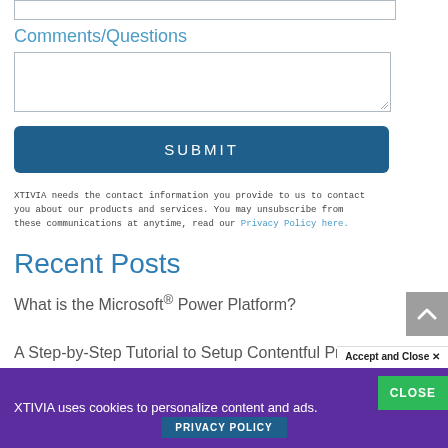Comments/Questions
SUBMIT
XTIVIA needs the contact information you provide to us to contact you about our products and services. You may unsubscribe from these communications at anytime, read our Privacy Policy here.
Recent Posts
What is the Microsoft® Power Platform?
A Step-by-Step Tutorial to Setup Contentful Preview Mode with Next.js
Accept and Close ✕
XTIVIA uses cookies to personalize content and ads.
CLOSE
PRIVACY POLICY